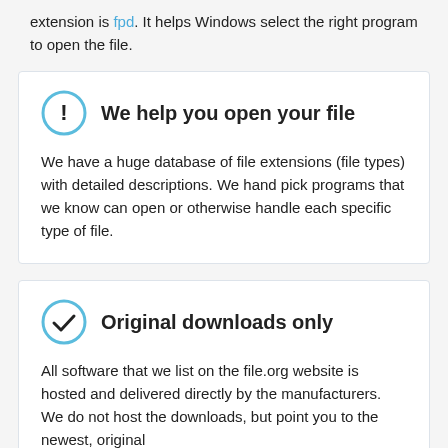extension is fpd. It helps Windows select the right program to open the file.
We help you open your file
We have a huge database of file extensions (file types) with detailed descriptions. We hand pick programs that we know can open or otherwise handle each specific type of file.
Original downloads only
All software that we list on the file.org website is hosted and delivered directly by the manufacturers. We do not host the downloads, but point you to the newest, original